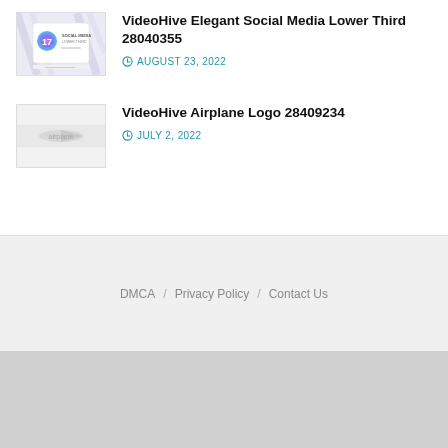[Figure (thumbnail): Social Media Lower Third thumbnail with number 17 and colorful gradient design]
VideoHive Elegant Social Media Lower Third 28040355
AUGUST 23, 2022
[Figure (thumbnail): Airplane logo thumbnail with light gray/white background showing airplane]
VideoHive Airplane Logo 28409234
JULY 2, 2022
DMCA / Privacy Policy / Contact Us